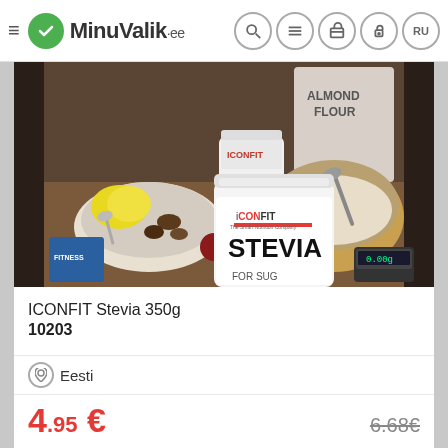MinuValik.ee
[Figure (photo): Product photo of ICONFIT Stevia 350g container on a kitchen counter surrounded by ingredients including cacao powder, almond flour bag, a bowl of mixed nuts and lemon slices, and a mixing bowl with flour mixture]
ICONFIT Stevia 350g
10203
Eesti
4.95 €
6.68€